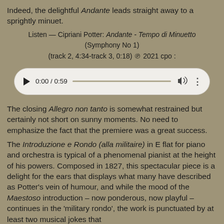Indeed, the delightful Andante leads straight away to a sprightly minuet.
Listen — Cipriani Potter: Andante - Tempo di Minuetto (Symphony No 1) (track 2, 4:34-track 3, 0:18) ℗ 2021 cpo :
[Figure (screenshot): Audio player widget showing 0:00 / 0:59 with play button, progress bar, volume and more options buttons]
The closing Allegro non tanto is somewhat restrained but certainly not short on sunny moments. No need to emphasize the fact that the premiere was a great success.
The Introduzione e Rondo (alla militaire) in E flat for piano and orchestra is typical of a phenomenal pianist at the height of his powers. Composed in 1827, this spectacular piece is a delight for the ears that displays what many have described as Potter's vein of humour, and while the mood of the Maestoso introduction – now ponderous, now playful – continues in the 'military rondo', the work is punctuated by at least two musical jokes that